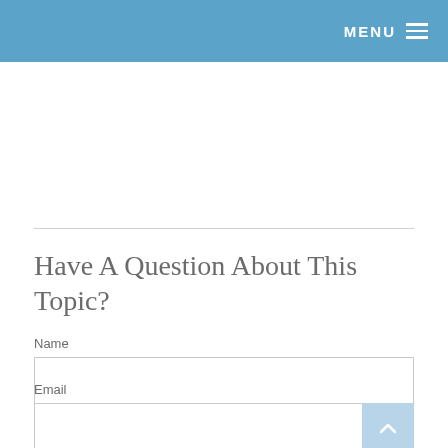MENU ≡
Have A Question About This Topic?
Name
Email